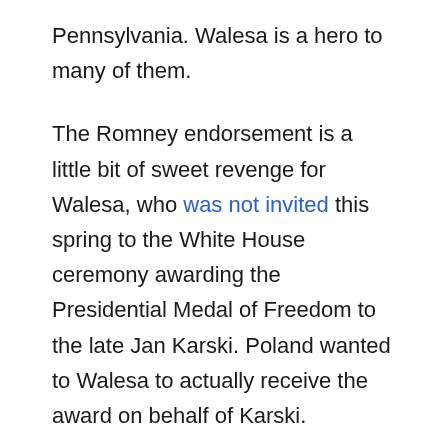Pennsylvania. Walesa is a hero to many of them.
The Romney endorsement is a little bit of sweet revenge for Walesa, who was not invited this spring to the White House ceremony awarding the Presidential Medal of Freedom to the late Jan Karski. Poland wanted to Walesa to actually receive the award on behalf of Karski.
The snub seemed to be petty payback by the White House.